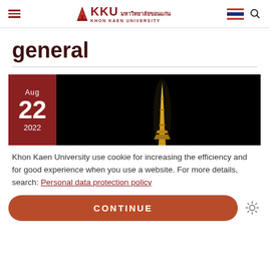KKU มหาวิทยาลัยขอนแก่น KHON KAEN UNIVERSITY
general
[Figure (photo): Article card showing Aug 22 2022 date box in dark red alongside a night photo of a golden Thai temple spire against a black sky]
Khon Kaen University use cookie for increasing the efficiency and for good experience when you use a website. For more details, search: Personal data protection policy
CONTINUE